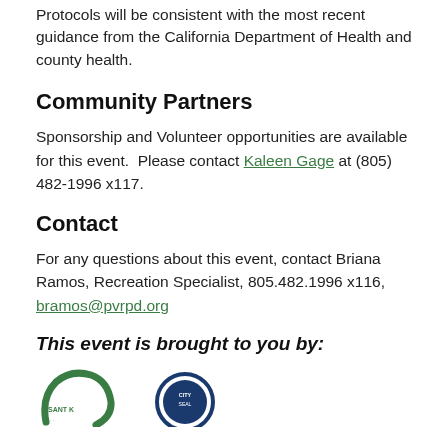Protocols will be consistent with the most recent guidance from the California Department of Health and county health.
Community Partners
Sponsorship and Volunteer opportunities are available for this event.  Please contact Kaleen Gage at (805) 482-1996 x117.
Contact
For any questions about this event, contact Briana Ramos, Recreation Specialist, 805.482.1996 x116, bramos@pvrpd.org
This event is brought to you by:
[Figure (logo): Two organizational logos partially visible at bottom of page]